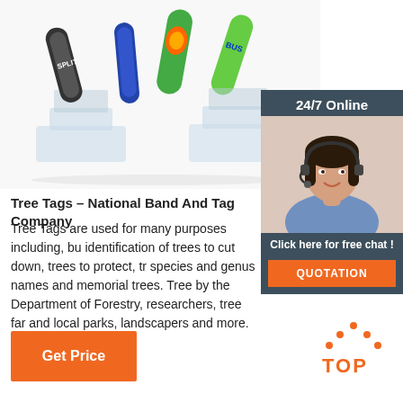[Figure (photo): Product photo of colorful wristbands/tree tags displayed on clear acrylic stands against a white background]
[Figure (photo): 24/7 Online customer service panel with a smiling female agent wearing a headset, a 'Click here for free chat!' message, and an orange QUOTATION button]
Tree Tags – National Band And Tag Company
Tree Tags are used for many purposes including, but not limited to, identification of trees to cut down, trees to protect, trees showing species and genus names and memorial trees. Tree Tags are used by the Department of Forestry, researchers, tree farms, nurseries and local parks, landscapers and more.
[Figure (other): Orange 'Get Price' button]
[Figure (other): Orange TOP icon with dotted triangle and text TOP]